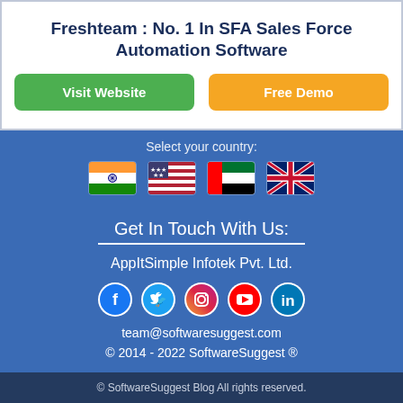Freshteam : No. 1 In SFA Sales Force Automation Software
[Figure (infographic): Two buttons: 'Visit Website' (green) and 'Free Demo' (orange)]
Select your country:
[Figure (illustration): Four country flags: India, USA, UAE, UK]
Get In Touch With Us:
AppItSimple Infotek Pvt. Ltd.
[Figure (infographic): Social media icons: Facebook, Twitter, Instagram, YouTube, LinkedIn]
team@softwaresuggest.com
© 2014 - 2022 SoftwareSuggest ®
© SoftwareSuggest Blog All rights reserved.